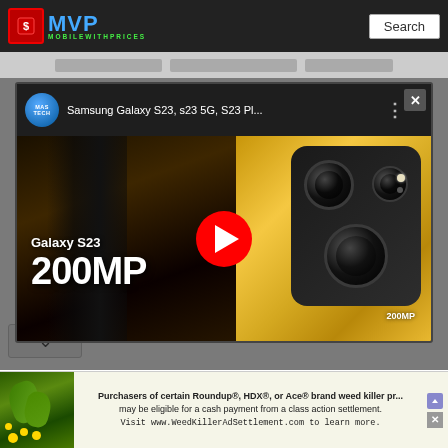MVP MobileWithPrices — Search
[Figure (screenshot): YouTube video embed modal showing Samsung Galaxy S23 thumbnail with 200MP camera text overlay and gold phone render, with play button. Channel: MASTECH. Title: Samsung Galaxy S23, s23 5G, S23 Pl...]
Samsung Galaxy S23, s23 5G, S23 Pl...
Galaxy S23
200MP
200MP
Purchasers of certain Roundup®, HDX®, or Ace® brand weed killer products may be eligible for a cash payment from a class action settlement. Visit www.WeedKillerAdSettlement.com to learn more.